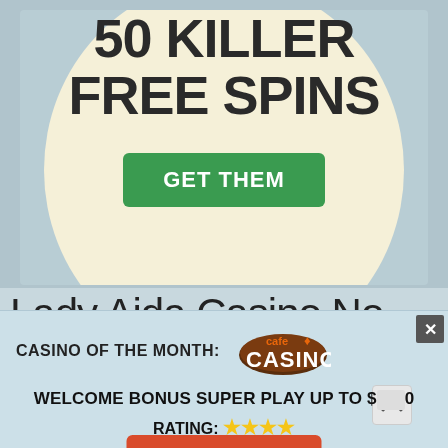[Figure (screenshot): Casino promotional banner showing '50 KILLER FREE SPINS' text in dark bold letters on a cream/yellow circular background with a teal/grey surrounding, with a green 'GET THEM' button]
Lady Aida Casino No
[Figure (screenshot): Popup overlay with light blue background showing: CASINO OF THE MONTH with Cafe Casino logo, WELCOME BONUS SUPER PLAY UP TO $[amount], 4-star rating, and a red Get Bonus button. Has a close X button in top right corner.]
CASINO OF THE MONTH:
WELCOME BONUS SUPER PLAY UP TO $[amount]0
RATING: ★★★★
Get Bonus